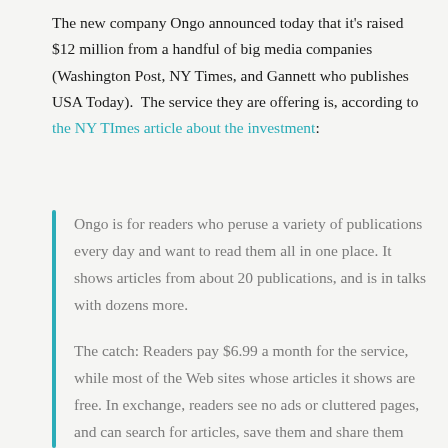The new company Ongo announced today that it's raised $12 million from a handful of big media companies (Washington Post, NY Times, and Gannett who publishes USA Today).  The service they are offering is, according to the NY TImes article about the investment:
Ongo is for readers who peruse a variety of publications every day and want to read them all in one place. It shows articles from about 20 publications, and is in talks with dozens more.
The catch: Readers pay $6.99 a month for the service, while most of the Web sites whose articles it shows are free. In exchange, readers see no ads or cluttered pages, and can search for articles, save them and share them with friends